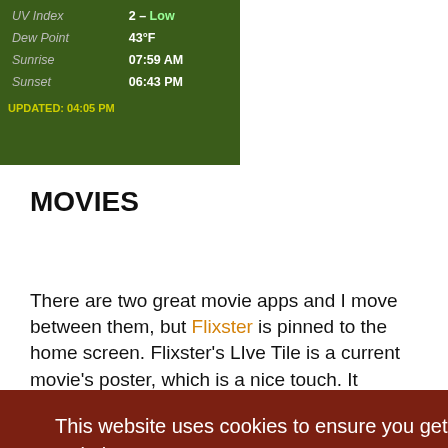[Figure (screenshot): Weather app screenshot showing Dew Point 43°F, Sunrise 07:59 AM, Sunset 06:43 PM, UPDATED 04:05 PM on a grassy background]
MOVIES
There are two great movie apps and I move between them, but Flixster is pinned to the home screen. Flixster's Live Tile is a current movie's poster, which is a nice touch. It supports fast app switching on Mango, has
ngo is
access
s in
[Figure (screenshot): Cookie consent banner overlay with dark red background reading: This website uses cookies to ensure you get the best experience on our website. Learn more. Got it! button.]
[Figure (screenshot): Bottom blue banner, partially visible]